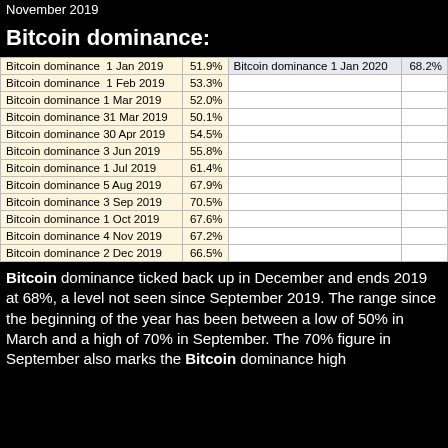November 2019
Bitcoin dominance:
|  |  |  |  |
| --- | --- | --- | --- |
| Bitcoin dominance  1 Jan 2019 | 51.9% | Bitcoin dominance 1 Jan 2020 | 68.2% |
| Bitcoin dominance  1 Feb 2019 | 53.3% |  |  |
| Bitcoin dominance 1 Mar 2019 | 52.0% |  |  |
| Bitcoin dominance 31 Mar 2019 | 50.1% |  |  |
| Bitcoin dominance 30 Apr 2019 | 54.5% |  |  |
| Bitcoin dominance 3 Jun 2019 | 55.8% |  |  |
| Bitcoin dominance 1 Jul 2019 | 61.4% |  |  |
| Bitcoin dominance 5 Aug 2019 | 67.9% |  |  |
| Bitcoin dominance 3 Sep 2019 | 70.5% |  |  |
| Bitcoin dominance 1 Oct 2019 | 67.6% |  |  |
| Bitcoin dominance 4 Nov 2019 | 67.2% |  |  |
| Bitcoin dominance 2 Dec 2019 | 66.5% |  |  |
Bitcoin dominance ticked back up in December and ends 2019 at 68%, a level not seen since September 2019. The range since the beginning of the year has been between a low of 50% in March and a high of 70% in September. The 70% figure in September also marks the Bitcoin dominance high since at least the beginning of January 2019. The